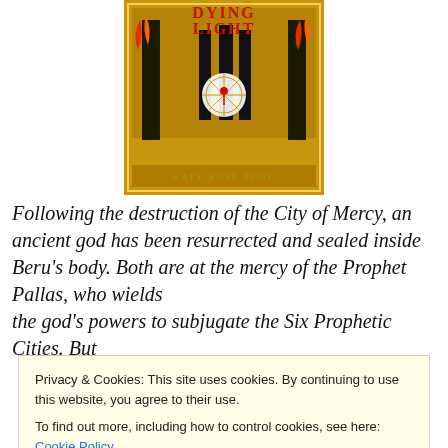[Figure (illustration): Book cover of 'Dying Light' by Katy Rose Pool — gold background with black silhouetted figures, flames, and a compass/star symbol in the center. Title in red letters at top, author name in gold at bottom.]
Following the destruction of the City of Mercy, an ancient god has been resurrected and sealed inside Beru's body. Both are at the mercy of the Prophet Pallas, who wields the god's powers to subjugate the Six Prophetic Cities. But
Privacy & Cookies: This site uses cookies. By continuing to use this website, you agree to their use.
To find out more, including how to control cookies, see here: Cookie Policy